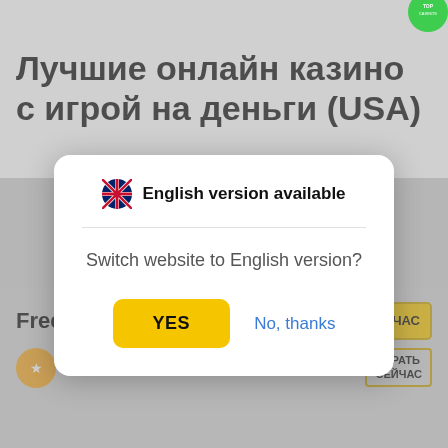Лучшие онлайн казино с игрой на деньги (USA)
[Figure (screenshot): Modal dialog overlay on a gambling website with language switch prompt. Shows UK flag icon, bold text 'English version available', a divider, question text 'Switch website to English version?', a yellow 'YES' button, and a blue 'No, thanks' link. Background shows Russian-language casino review page with 'Free Spin Casino' listing and 'ИГРАТЬ СЕЙЧАС' (Play Now) buttons.]
English version available
Switch website to English version?
YES
No, thanks
Free Spin
Free Spin Casino
ИГРАТЬ СЕЙЧАС
ИГРАТЬ СЕЙЧАС
$2299